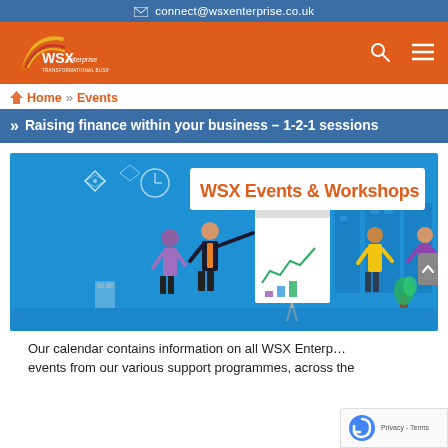✉ connect@wsxenterprise.co.uk
[Figure (logo): WSX Enterprise logo with rainbow arc graphic on orange navigation bar with search and hamburger menu icons]
Home » Events
» Raising finance within your business – 1-2-1 sessions
[Figure (illustration): WSX Events & Workshops banner image showing illustrated business people in a blue office environment with a whiteboard, computers, and city skyline background. Bold orange text reads 'WSX Events & Workshops' on a white banner.]
Our calendar contains information on all WSX Enterprise events from our various support programmes, across the